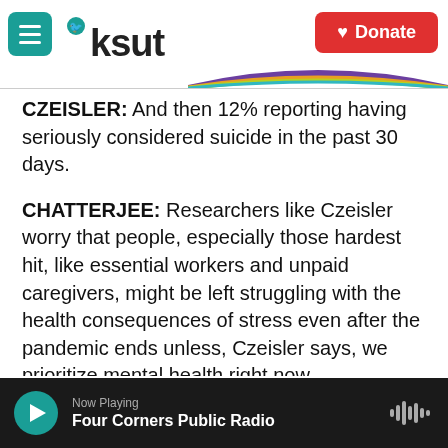KSUT | Donate
CZEISLER: And then 12% reporting having seriously considered suicide in the past 30 days.
CHATTERJEE: Researchers like Czeisler worry that people, especially those hardest hit, like essential workers and unpaid caregivers, might be left struggling with the health consequences of stress even after the pandemic ends unless, Czeisler says, we prioritize mental health right now.
CZEISLER: It's really important that public health officials, policymakers, everyone consider mental
Now Playing
Four Corners Public Radio